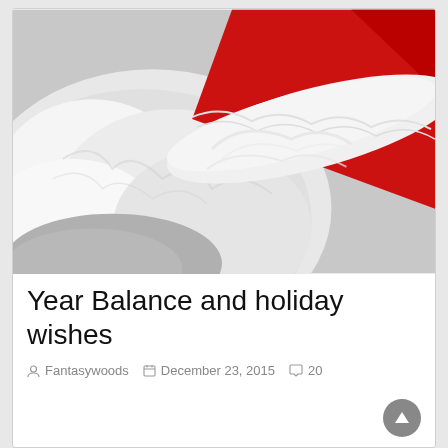[Figure (photo): Close-up photo of Santa Claus showing white beard and red hat with white fluffy trim, on a light gray background]
Year Balance and holiday wishes
Fantasywoods  December 23, 2015  20